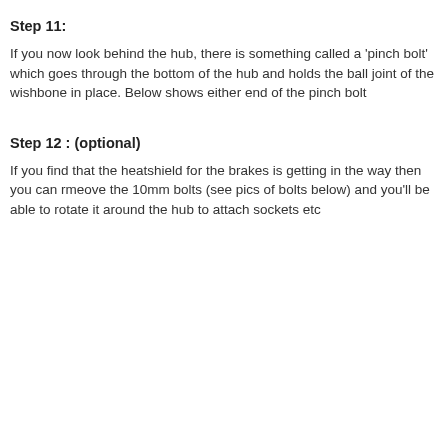Step 11:
If you now look behind the hub, there is something called a 'pinch bolt' which goes through the bottom of the hub and holds the ball joint of the wishbone in place. Below shows either end of the pinch bolt
Step 12 : (optional)
If you find that the heatshield for the brakes is getting in the way then you can rmeove the 10mm bolts (see pics of bolts below) and you'll be able to rotate it around the hub to attach sockets etc